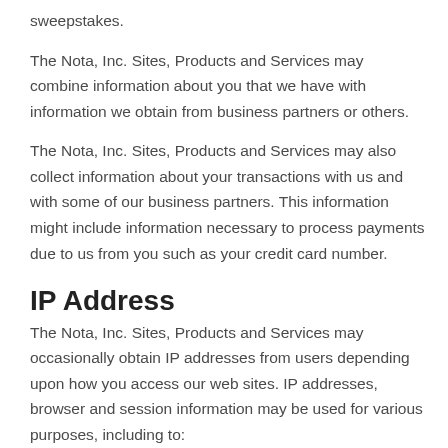sweepstakes.
The Nota, Inc. Sites, Products and Services may combine information about you that we have with information we obtain from business partners or others.
The Nota, Inc. Sites, Products and Services may also collect information about your transactions with us and with some of our business partners. This information might include information necessary to process payments due to us from you such as your credit card number.
IP Address
The Nota, Inc. Sites, Products and Services may occasionally obtain IP addresses from users depending upon how you access our web sites. IP addresses, browser and session information may be used for various purposes, including to:
Diagnose...